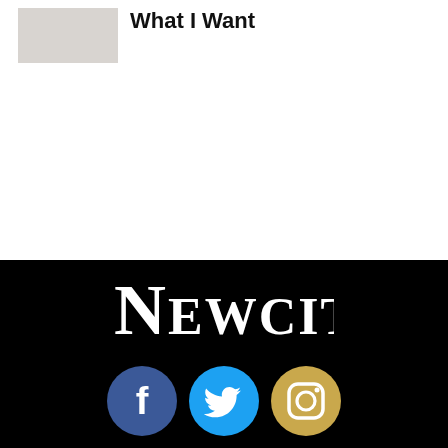[Figure (photo): Small thumbnail image placeholder]
What I Want
[Figure (logo): Newcity logo in white text on black background]
[Figure (other): Social media icons: Facebook (dark blue circle), Twitter (light blue circle), Instagram (gold circle)]